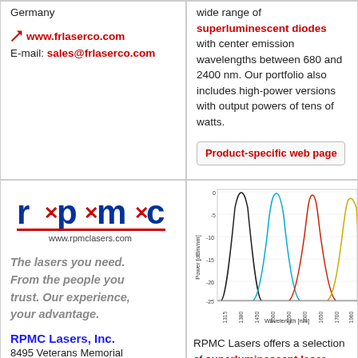Germany
www.frlaserco.com
E-mail: sales@frlaserco.com
wide range of superluminescent diodes with center emission wavelengths between 680 and 2400 nm. Our portfolio also includes high-power versions with output powers of tens of watts.
Product-specific web page
[Figure (logo): RPMC Lasers logo with r×p×m×c text and www.rpmclasers.com]
The lasers you need. From the people you trust. Our experience, your advantage.
RPMC Lasers, Inc.
8495 Veterans Memorial
[Figure (continuous-plot): Spectral power (dBm/nm) vs Wavelength (nm) chart showing multiple overlapping SLD emission curves in different colors (black, cyan, red, yellow)]
RPMC Lasers offers a selection of superluminescent laser diodes. These SLDs can be...